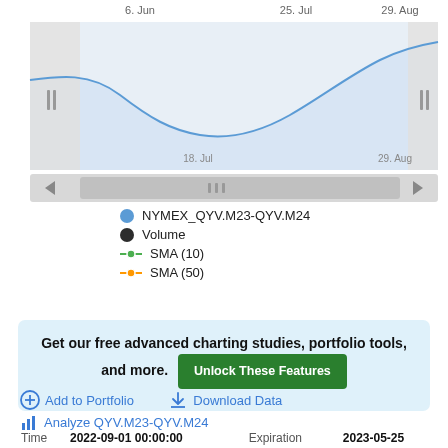[Figure (continuous-plot): Time range selector for NYMEX_QYV.M23-QYV.M24 chart showing a line chart with shaded area. X-axis shows dates 6. Jun, 25. Jul, 29. Aug. An inner selection window spans from approximately mid-June to late August (18. Jul to 29. Aug labeled). The chart has drag handles on left, right, and a scrollbar at bottom with navigation arrows.]
NYMEX_QYV.M23-QYV.M24
Volume
SMA (10)
SMA (50)
Get our free advanced charting studies, portfolio tools, and more.
Unlock These Features
+ Add to Portfolio
Download Data
Analyze QYV.M23-QYV.M24
| Time | 2022-09-01 00:00:00 | Expiration | 2023-05-25 |
| --- | --- | --- | --- |
Free Instant Analysis